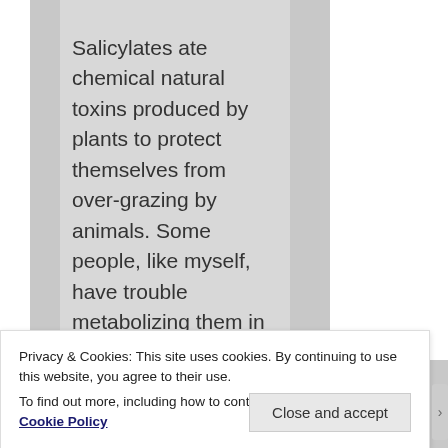Salicylates ate chemical natural toxins produced by plants to protect themselves from over-grazing by animals. Some people, like myself, have trouble metabolizing them in much the same way as diabetics have trouble metabolizing carbohydrates. Fasting has not changed this for me, and I believe this is because I am actually
Privacy & Cookies: This site uses cookies. By continuing to use this website, you agree to their use.
To find out more, including how to control cookies, see here: Cookie Policy